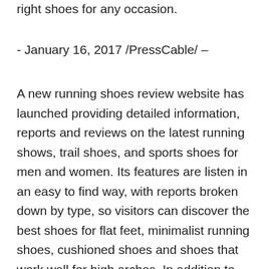right shoes for any occasion.
- January 16, 2017 /PressCable/ –
A new running shoes review website has launched providing detailed information, reports and reviews on the latest running shows, trail shoes, and sports shoes for men and women. Its features are listen in an easy to find way, with reports broken down by type, so visitors can discover the best shoes for flat feet, minimalist running shoes, cushioned shoes and shoes that work well for high arches. In addition to this, visitors can browse by brands, and by men’s and women’s categories.